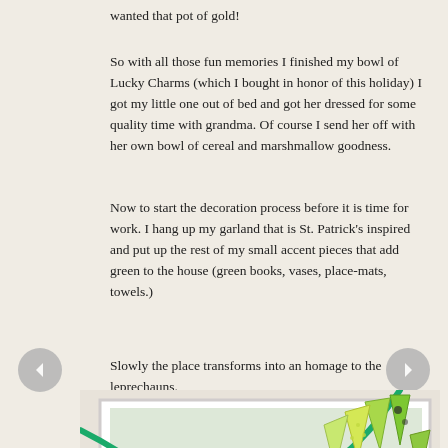wanted that pot of gold!
So with all those fun memories I finished my bowl of Lucky Charms (which I bought in honor of this holiday) I got my little one out of bed and got her dressed for some quality time with grandma. Of course I send her off with her own bowl of cereal and marshmallow goodness.
Now to start the decoration process before it is time for work. I hang up my garland that is St. Patrick's inspired and put up the rest of my small accent pieces that add green to the house (green books, vases, place-mats, towels.)
Slowly the place transforms into an homage to the leprechauns.
[Figure (photo): A St. Patrick's Day themed bunting/garland with green triangular fabric flags in light green and yellow-green patterns, with a teal/green ribbon running through the top. Photo shows the garland hanging with a white frame border visible.]